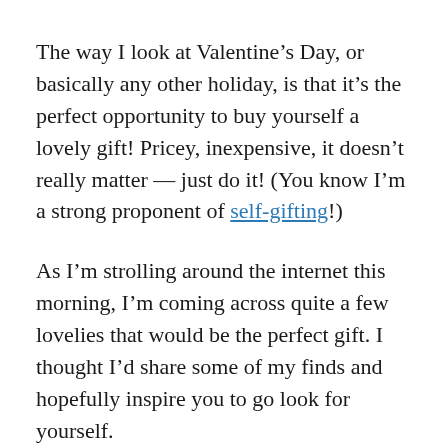The way I look at Valentine's Day, or basically any other holiday, is that it's the perfect opportunity to buy yourself a lovely gift! Pricey, inexpensive, it doesn't really matter — just do it! (You know I'm a strong proponent of self-gifting!)
As I'm strolling around the internet this morning, I'm coming across quite a few lovelies that would be the perfect gift. I thought I'd share some of my finds and hopefully inspire you to go look for yourself.
1. Check out this stunning labradorite ring by Armenta. It's an investment, but it would look